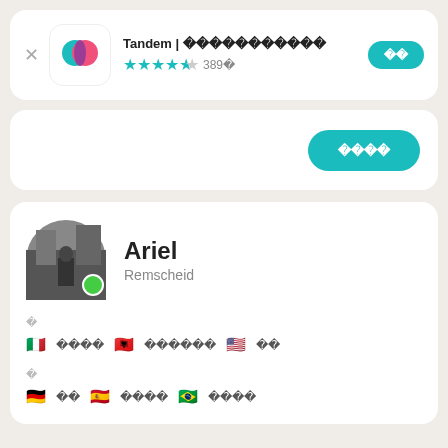Tandem | 언어교환 파트너 찾기
★★★★½ 389개
받기
설치하기
Ariel
Remscheid
📍
🇮🇹 이탈 🇦🇱 알바니아어 🇺🇸 영어
📖
🇩🇪 독일 🇪🇸 스페인어 🇧🇷 포르투갈어